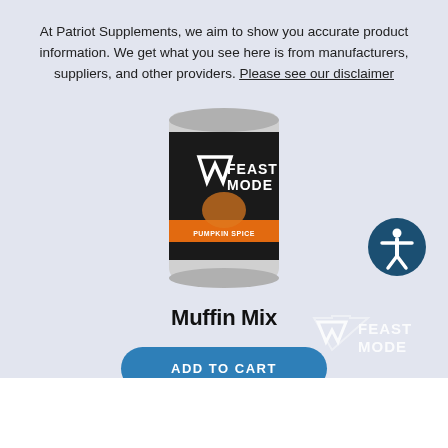At Patriot Supplements, we aim to show you accurate product information. We get what you see here is from manufacturers, suppliers, and other providers. Please see our disclaimer
[Figure (photo): Feast Mode Muffin Mix supplement container with dark label featuring pumpkin spice flavor]
Muffin Mix
ADD TO CART